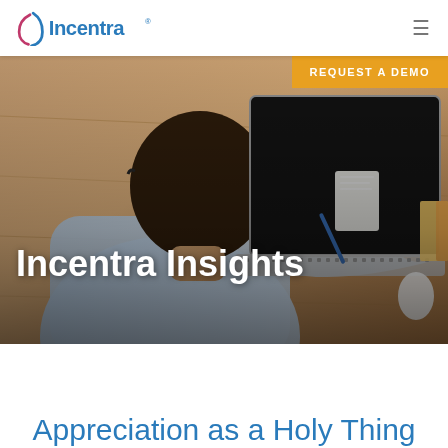Incentra [logo] | hamburger menu
[Figure (screenshot): Screenshot of the Incentra website showing a man from behind working on a laptop at a wooden desk, with the text 'Incentra Insights' overlaid in white. An orange 'REQUEST A DEMO' button is in the upper right of the image.]
Appreciation as a Holy Thing